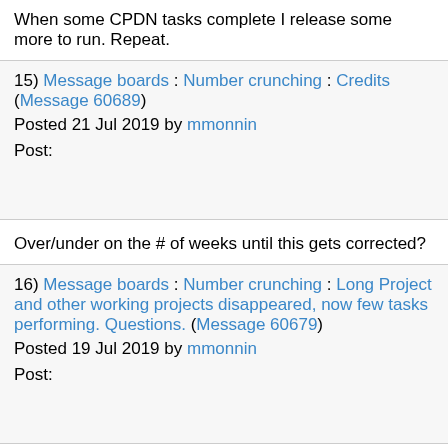When some CPDN tasks complete I release some more to run. Repeat.
15) Message boards : Number crunching : Credits (Message 60689)
Posted 21 Jul 2019 by mmonnin
Post:
Over/under on the # of weeks until this gets corrected?
16) Message boards : Number crunching : Long Project and other working projects disappeared, now few tasks performing. Questions. (Message 60679)
Posted 19 Jul 2019 by mmonnin
Post:
These?
https://www.cpdn.org/cpdnboinc/results.php?hostid=1328590